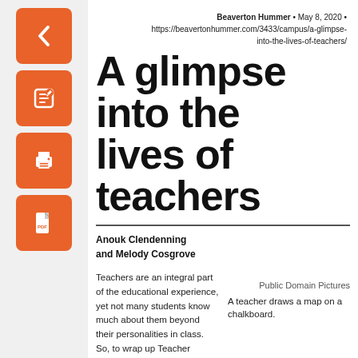[Figure (other): Orange back arrow button (navigation UI)]
[Figure (other): Orange edit/pencil button (navigation UI)]
[Figure (other): Orange print button (navigation UI)]
[Figure (other): Orange PDF button (navigation UI)]
Beaverton Hummer • May 8, 2020 • https://beavertonhummer.com/3433/campus/a-glimpse-into-the-lives-of-teachers/
A glimpse into the lives of teachers
Anouk Clendenning and Melody Cosgrove
Teachers are an integral part of the educational experience, yet not many students know much about them beyond their personalities in class. So, to wrap up Teacher Appreciation Week, several
Public Domain Pictures
A teacher draws a map on a chalkboard.